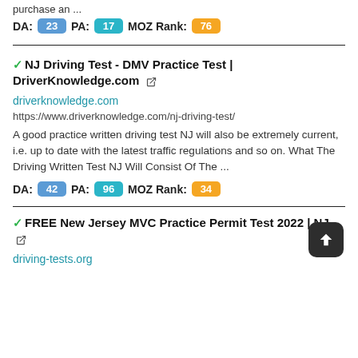purchase an ...
DA: 23  PA: 17  MOZ Rank: 76
✓ NJ Driving Test - DMV Practice Test | DriverKnowledge.com 🔗
driverknowledge.com
https://www.driverknowledge.com/nj-driving-test/
A good practice written driving test NJ will also be extremely current, i.e. up to date with the latest traffic regulations and so on. What The Driving Written Test NJ Will Consist Of The ...
DA: 42  PA: 96  MOZ Rank: 34
✓ FREE New Jersey MVC Practice Permit Test 2022 | NJ 🔗
driving-tests.org